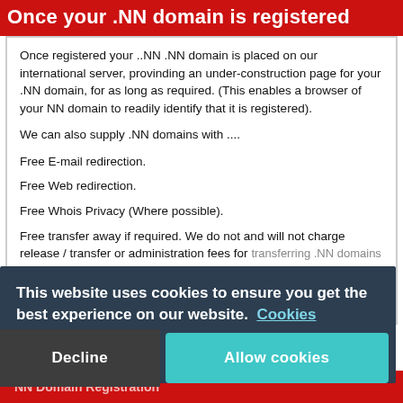Once your .NN domain is registered
Once registered your ..NN .NN domain is placed on our international server, provinding an under-construction page for your .NN domain, for as long as required. (This enables a browser of your NN domain to readily identify that it is registered).
We can also supply .NN domains with ....
Free E-mail redirection.
Free Web redirection.
Free Whois Privacy (Where possible).
Free transfer away if required. We do not and will not charge release / transfer or administration fees for transferring .NN domains to a different NN domain name registrar or other companies. We recognise that fact many other companies. We recognise that fact
This website uses cookies to ensure you get the best experience on our website. Cookies
Decline | Allow cookies
NN Domain Registration